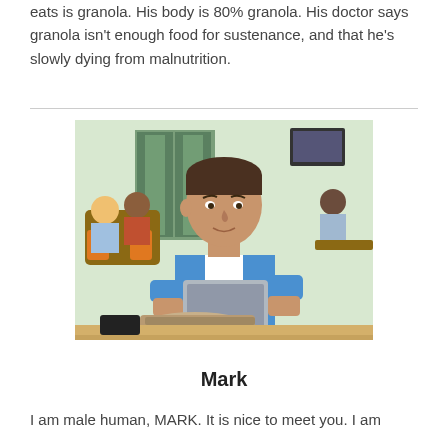eats is granola. His body is 80% granola. His doctor says granola isn't enough food for sustenance, and that he's slowly dying from malnutrition.
[Figure (photo): A young man in a blue and white baseball tee sitting at a table in a cafeteria, looking down at a tablet device with a bag in front of him. Other students are visible in the background.]
Mark
I am male human, MARK. It is nice to meet you. I am